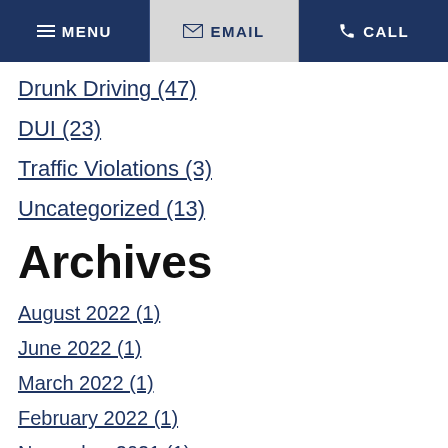MENU | EMAIL | CALL
Drunk Driving (47)
DUI (23)
Traffic Violations (3)
Uncategorized (13)
Archives
August 2022 (1)
June 2022 (1)
March 2022 (1)
February 2022 (1)
November 2021 (1)
September 2021 (1)